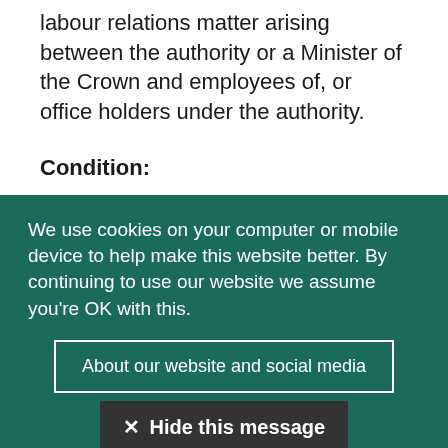labour relations matter arising between the authority or a Minister of the Crown and employees of, or office holders under the authority.
Condition:
Information is not exempt information if it relates to proposed development for which
We use cookies on your computer or mobile device to help make this website better. By continuing to use our website we assume you're OK with this.
About our website and social media
✕ Hide this message